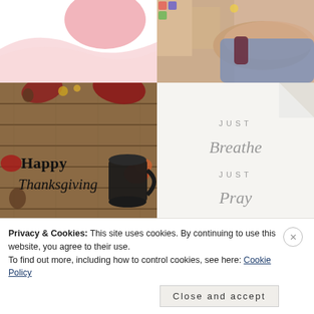[Figure (illustration): Abstract pink blob shapes on white background (top-left quadrant)]
[Figure (photo): Close-up photo of a person's arm/wrist area with colorful items in background (top-right quadrant)]
[Figure (photo): Thanksgiving themed photo with wooden table, autumn leaves, mini pumpkins, pine cones, a black coffee mug, with text 'Happy Thanksgiving' and 'lifeinbloom.blog' attribution]
[Figure (illustration): White card/page with slight fold at top-right corner, text reads: JUST / Breathe / JUST / Pray in spaced serif lettering]
Privacy & Cookies: This site uses cookies. By continuing to use this website, you agree to their use.
To find out more, including how to control cookies, see here: Cookie Policy
Close and accept